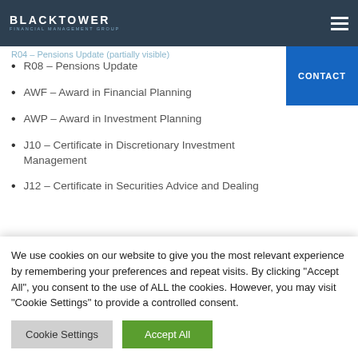BLACKTOWER FINANCIAL MANAGEMENT GROUP
R04 – Pensions Update
AWF – Award in Financial Planning
AWP – Award in Investment Planning
J10 – Certificate in Discretionary Investment Management
J12 – Certificate in Securities Advice and Dealing
Contact Richard
We use cookies on our website to give you the most relevant experience by remembering your preferences and repeat visits. By clicking "Accept All", you consent to the use of ALL the cookies. However, you may visit "Cookie Settings" to provide a controlled consent.